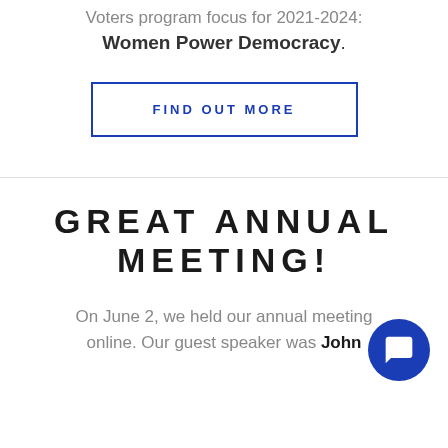Voters program  focus for 2021-2024:
Women Power Democracy.
FIND OUT MORE
GREAT ANNUAL MEETING!
On June 2, we held our annual meeting online. Our guest speaker was John